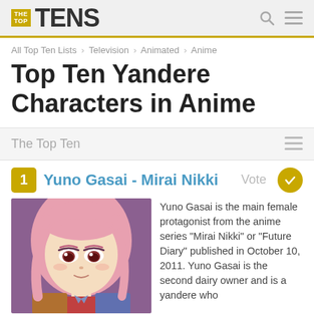THE TOP TENS
All Top Ten Lists > Television > Animated > Anime
Top Ten Yandere Characters in Anime
The Top Ten
1 Yuno Gasai - Mirai Nikki
[Figure (photo): Anime character Yuno Gasai from Mirai Nikki, a pink-haired girl with brown eyes]
Yuno Gasai is the main female protagonist from the anime series "Mirai Nikki" or "Future Diary" published in October 10, 2011. Yuno Gasai is the second dairy owner and is a yandere who